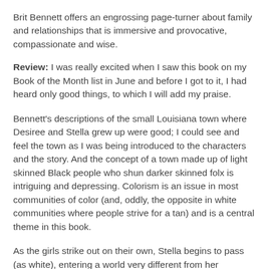Brit Bennett offers an engrossing page-turner about family and relationships that is immersive and provocative, compassionate and wise.
Review: I was really excited when I saw this book on my Book of the Month list in June and before I got to it, I had heard only good things, to which I will add my praise.
Bennett's descriptions of the small Louisiana town where Desiree and Stella grew up were good; I could see and feel the town as I was being introduced to the characters and the story. And the concept of a town made up of light skinned Black people who shun darker skinned folx is intriguing and depressing. Colorism is an issue in most communities of color (and, oddly, the opposite in white communities where people strive for a tan) and is a central theme in this book.
As the girls strike out on their own, Stella begins to pass (as white), entering a world very different from her upbringing and the life of her twin. Seeing life through both sets of eyes is both devastating and intriguing; how their lives parallel one another and converge kept me turning pages to finish this